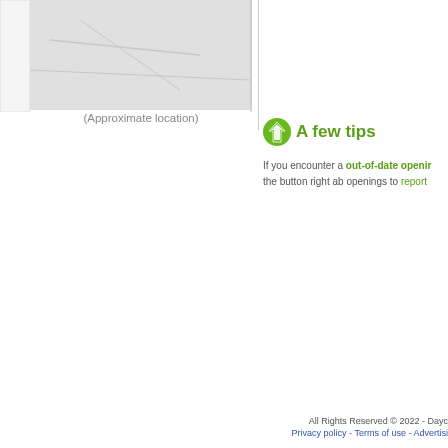[Figure (map): Map showing approximate location with gray background area]
(Approximate location)
A few tips
If you encounter a out-of-date opening hours, the button right ab openings to report
All Rights Reserved © 2022 - Dayc
Privacy policy - Terms of use - Advertisi